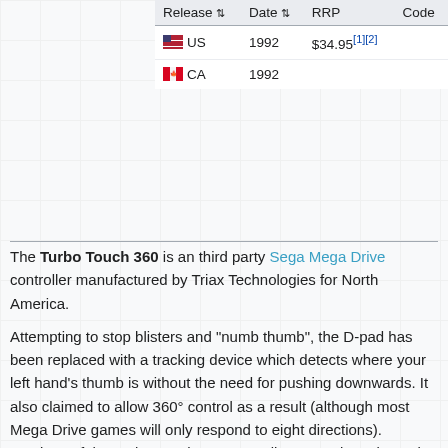| Release | Date | RRP | Code |
| --- | --- | --- | --- |
| US | 1992 | $34.95[1][2] |  |
| CA | 1992 |  |  |
The Turbo Touch 360 is an third party Sega Mega Drive controller manufactured by Triax Technologies for North America.
Attempting to stop blisters and "numb thumb", the D-pad has been replaced with a tracking device which detects where your left hand's thumb is without the need for pushing downwards. It also claimed to allow 360° control as a result (although most Mega Drive games will only respond to eight directions). Versions of the Turbo Touch 360 controller were also released for the NES and Super NES.
The gamepad was first unveiled in North America's CES in Winter 1993, but the technology never replaced the D-Pad in later consoles